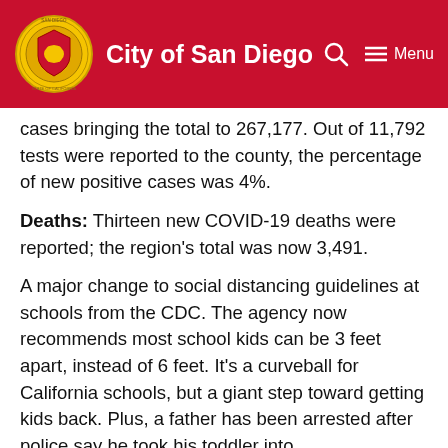City of San Diego — Menu
cases bringing the total to 267,177. Out of 11,792 tests were reported to the county, the percentage of new positive cases was 4%.
Deaths: Thirteen new COVID-19 deaths were reported; the region's total was now 3,491.
A major change to social distancing guidelines at schools from the CDC. The agency now recommends most school kids can be 3 feet apart, instead of 6 feet. It's a curveball for California schools, but a giant step toward getting kids back. Plus, a father has been arrested after police say he took his toddler into